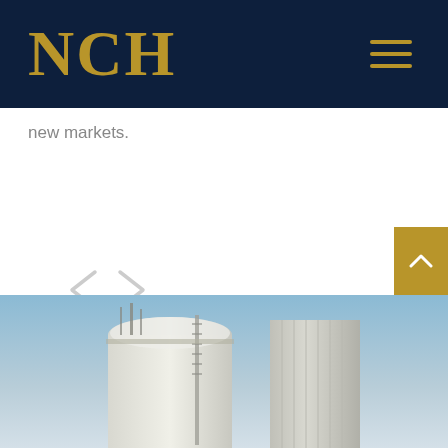NCH
new markets.
[Figure (other): Navigation arrows (left and right chevrons) for a carousel or slider, rendered in light gray]
[Figure (photo): Industrial grain silos photographed from below against a blue sky, showing curved metal structures and access ladders]